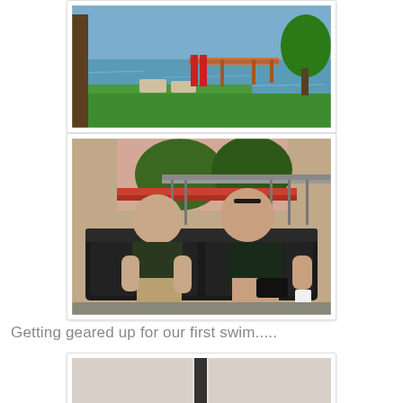[Figure (photo): Photo of a lakeside dock with green lawn, lounge chairs, and a wooden dock extending into the water. Partially visible at top of page.]
[Figure (photo): Photo of two people, a man and a woman, sitting relaxed on a dark couch on a porch or balcony with trees and reddish background visible. Man on left in dark t-shirt and khaki shorts, woman on right in dark t-shirt with sunglasses on head, holding a white cup.]
Getting geared up for our first swim.....
[Figure (photo): Partial photo at bottom of page, mostly cut off, showing beginning of another image.]